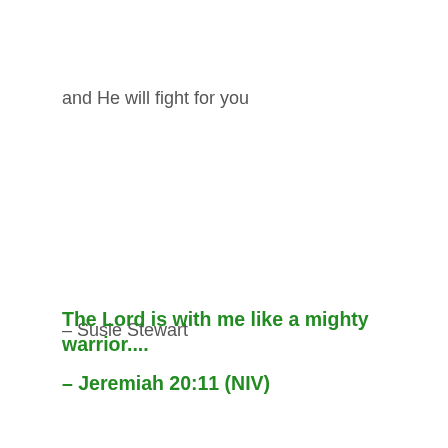and He will fight for you
– Susie Stewart
The Lord is with me like a mighty warrior....
– Jeremiah 20:11 (NIV)